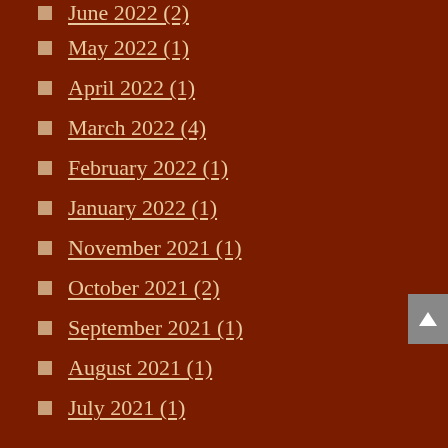June 2022 (2)
May 2022 (1)
April 2022 (1)
March 2022 (4)
February 2022 (1)
January 2022 (1)
November 2021 (1)
October 2021 (2)
September 2021 (1)
August 2021 (1)
July 2021 (1)